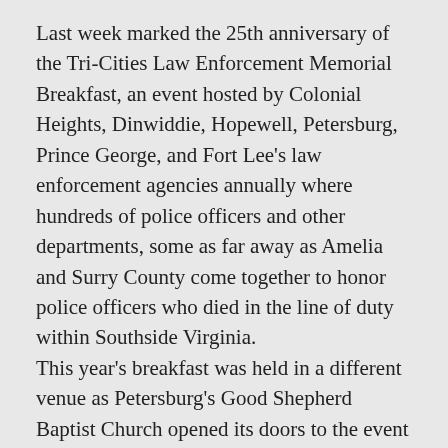Last week marked the 25th anniversary of the Tri-Cities Law Enforcement Memorial Breakfast, an event hosted by Colonial Heights, Dinwiddie, Hopewell, Petersburg, Prince George, and Fort Lee's law enforcement agencies annually where hundreds of police officers and other departments, some as far away as Amelia and Surry County come together to honor police officers who died in the line of duty within Southside Virginia.
This year's breakfast was held in a different venue as Petersburg's Good Shepherd Baptist Church opened its doors to the event after a fire at the Hopewell Moose Lodge, the longtime location of the memorial service, gutted the building in late February.
As in past years, images of fallen officers from across the region stand in silent memorial with candles as friends and family of those who perished look upon